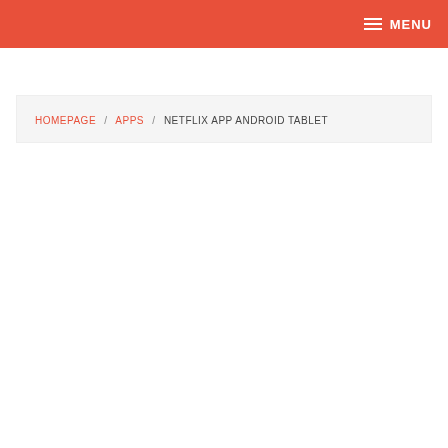MENU
HOMEPAGE / APPS / NETFLIX APP ANDROID TABLET